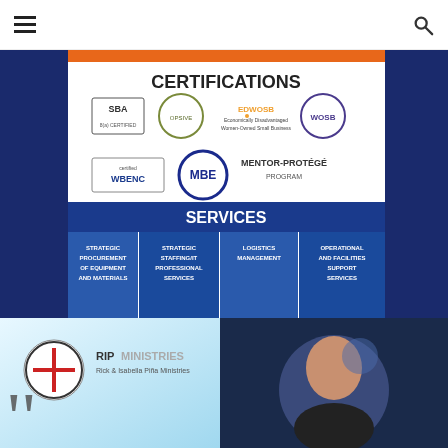Navigation header with hamburger menu and search icon
[Figure (photo): Two women in blue outfits standing in front of a certifications and services banner. The banner shows certifications including SBA, EDWOSB, WOSB, WBENC, MBE, and Mentor-Protégé Program. Services listed include Strategic Procurement of Equipment and Materials, Strategic Staffing/IT Professional Services, Logistics Management, and Operational and Facilities Support Services.]
[Figure (photo): Left side shows RIPMINISTRIES logo (Rick & Isabella Pina Ministries) on a light blue background. Right side shows a circular portrait photo of a bald man in a blue-lit environment.]
[Figure (illustration): Large decorative quotation marks in orange/dark color at bottom left]